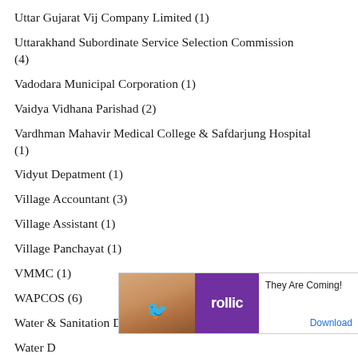Uttar Gujarat Vij Company Limited (1)
Uttarakhand Subordinate Service Selection Commission (4)
Vadodara Municipal Corporation (1)
Vaidya Vidhana Parishad (2)
Vardhman Mahavir Medical College & Safdarjung Hospital (1)
Vidyut Depatment (1)
Village Accountant (3)
Village Assistant (1)
Village Panchayat (1)
VMMC (1)
WAPCOS (6)
Water & Sanitation Department (1)
Water D[obscured by ad]
Water D[obscured by ad]
[Figure (other): Advertisement banner for 'rollic' app/game with tagline 'They Are Coming!' and a Download button. Contains Ad label, decorative image on left, purple logo panel in middle, and text on right.]